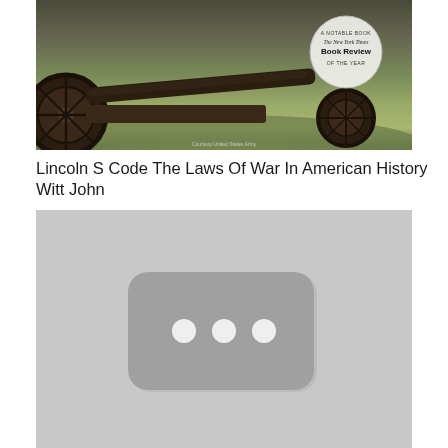[Figure (photo): Book cover photo showing a Civil War cannon on grass with a New York Times Book Review Notable Book badge in the upper right corner. The image has a sepia/muted green tone showing cannon wheels and barrel on a grassy field.]
Lincoln S Code The Laws Of War In American History Witt John
[Figure (photo): A gray placeholder image with a rounded rectangle icon containing three white dots in the center, resembling a loading or unavailable image placeholder.]